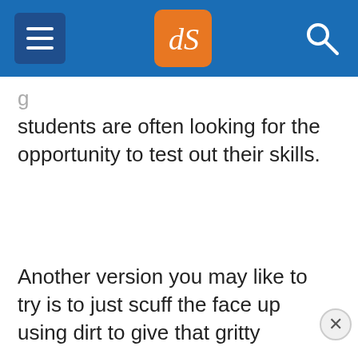dPS header navigation
students are often looking for the opportunity to test out their skills.
Another version you may like to try is to just scuff the face up using dirt to give that gritty